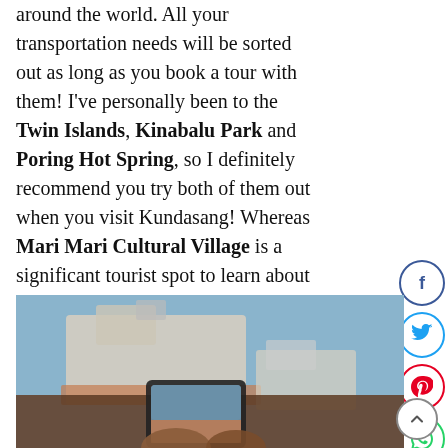around the world. All your transportation needs will be sorted out as long as you book a tour with them! I've personally been to the Twin Islands, Kinabalu Park and Poring Hot Spring, so I definitely recommend you try both of them out when you visit Kundasang! Whereas Mari Mari Cultural Village is a significant tourist spot to learn about the native tribes of Sabah!
[Figure (photo): A person holding a smartphone and taking a photo of a blurred historic building with orange/terracotta rooftops and a blue sky in the background.]